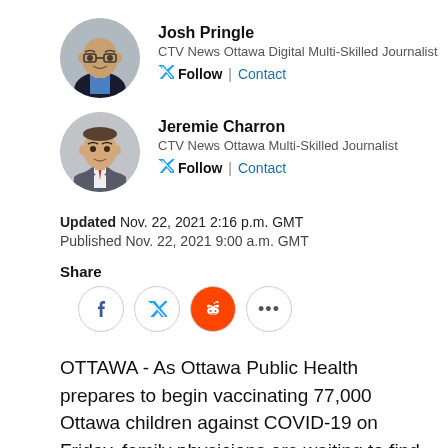[Figure (photo): Headshot of Josh Pringle, a bald man with glasses wearing a dark jacket and light blue shirt]
Josh Pringle
CTV News Ottawa Digital Multi-Skilled Journalist
Follow | Contact
[Figure (photo): Headshot of Jeremie Charron, a man in a grey suit with a tie, arms crossed]
Jeremie Charron
CTV News Ottawa Multi-Skilled Journalist
Follow | Contact
Updated Nov. 22, 2021 2:16 p.m. GMT
Published Nov. 22, 2021 9:00 a.m. GMT
Share
OTTAWA - As Ottawa Public Health prepares to begin vaccinating 77,000 Ottawa children against COVID-19 on Friday, family physicians are waiting to find out when they will receive